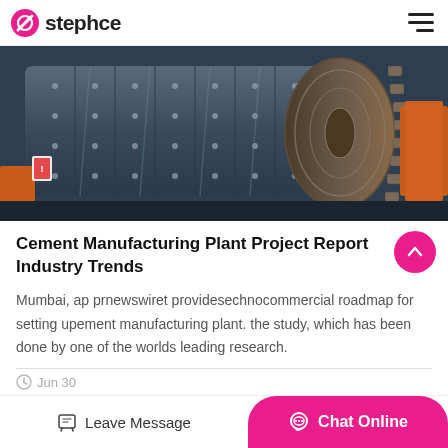stephce
[Figure (photo): Large industrial cement manufacturing machine (ball mill or similar rotary drum) with riveted metal plates, viewed from the side, showing heavy industrial equipment in blue-grey tones]
Cement Manufacturing Plant Project Report Industry Trends
Mumbai, ap prnewswiret providesechnocommercial roadmap for setting upement manufacturing plant. the study, which has been done by one of the worlds leading research.
Leave Message  Chat Online